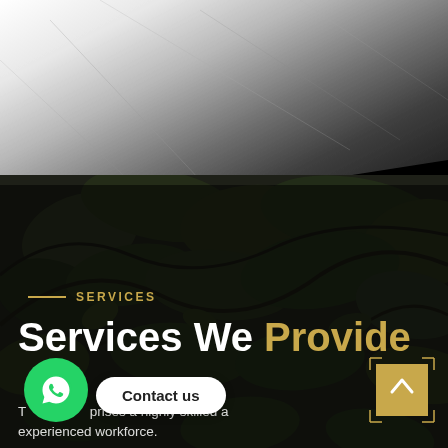[Figure (photo): Dark-toned background with foliage/tree branches visible against a light marble/stone texture at top, transitioning to dark green-black foliage below, with a dark overlay for text readability.]
SERVICES
Services We Provide
T… prises a highly skilled a… experienced workforce.
[Figure (illustration): Green WhatsApp circular button icon]
Contact us
[Figure (illustration): Gold/tan scroll-to-top button with upward chevron arrow, with crosshair corner marks around it]